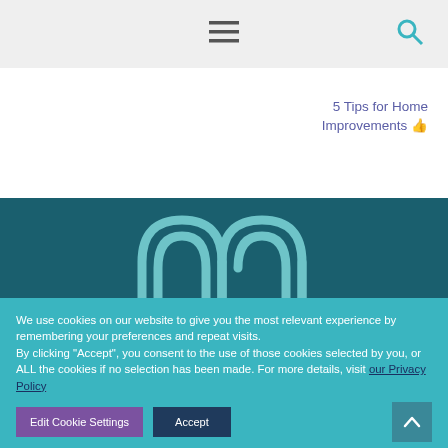Navigation bar with hamburger menu and search icon
5 Tips for Home Improvements →
[Figure (logo): Stylized 'mm' logo in teal/mint arched lettering on dark teal background]
We use cookies on our website to give you the most relevant experience by remembering your preferences and repeat visits.
By clicking "Accept", you consent to the use of those cookies selected by you, or ALL the cookies if no selection has been made. For more details, visit our Privacy Policy
Edit Cookie Settings | Accept